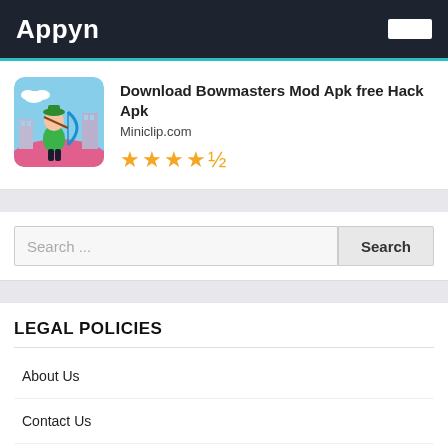Appyn
Download Bowmasters Mod Apk free Hack Apk
Miniclip.com
★★★★½
Search ...
LEGAL POLICIES
About Us
Contact Us
Disclaimer
Privacy Policy